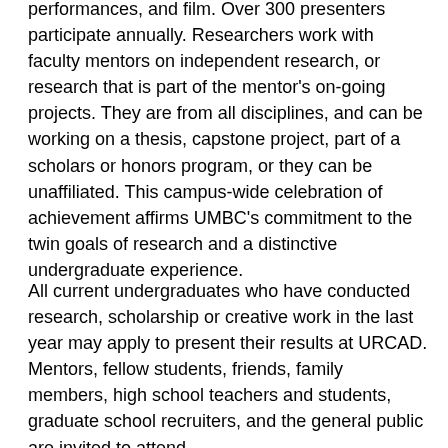performances, and film. Over 300 presenters participate annually. Researchers work with faculty mentors on independent research, or research that is part of the mentor's on-going projects. They are from all disciplines, and can be working on a thesis, capstone project, part of a scholars or honors program, or they can be unaffiliated. This campus-wide celebration of achievement affirms UMBC's commitment to the twin goals of research and a distinctive undergraduate experience.
All current undergraduates who have conducted research, scholarship or creative work in the last year may apply to present their results at URCAD. Mentors, fellow students, friends, family members, high school teachers and students, graduate school recruiters, and the general public are invited to attend.